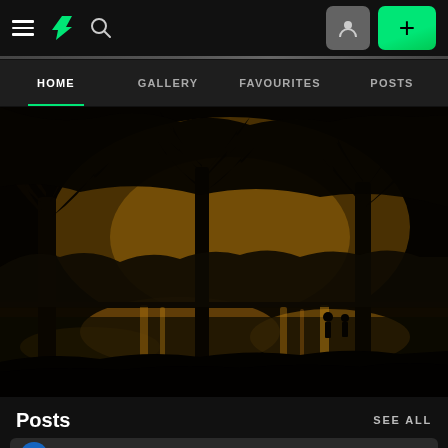DeviantArt navigation bar with hamburger menu, DA logo, search icon, user profile button, and plus button
HOME   GALLERY   FAVOURITES   POSTS
[Figure (photo): Dark silhouette photograph of bare trees against a golden sunset reflected on a lake, with two human silhouettes visible near the waterline]
Posts   SEE ALL
delph-ambi